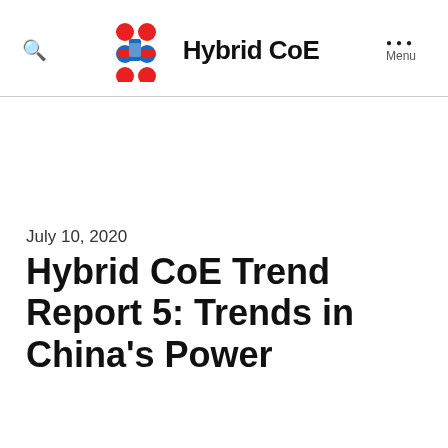Hybrid CoE
July 10, 2020
Hybrid CoE Trend Report 5: Trends in China's Power